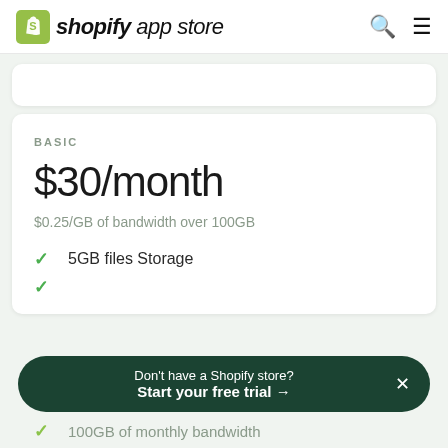shopify app store
BASIC
$30/month
$0.25/GB of bandwidth over 100GB
5GB files Storage
100GB of monthly bandwidth
Don't have a Shopify store? Start your free trial →